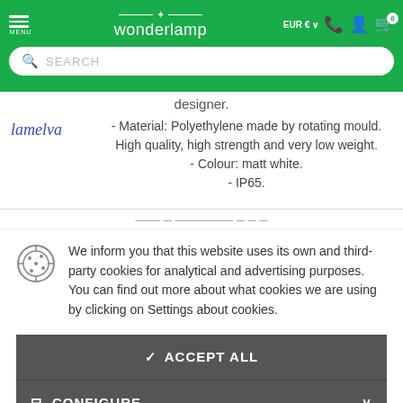[Figure (screenshot): Wonderlamp e-commerce website header with green background, logo, search bar, navigation icons and currency selector]
designer.
- Material: Polyethylene made by rotating mould. High quality, high strength and very low weight.
- Colour: matt white.
- IP65.
We inform you that this website uses its own and third-party cookies for analytical and advertising purposes. You can find out more about what cookies we are using by clicking on Settings about cookies.
✓ ACCEPT ALL
≡ CONFIGURE